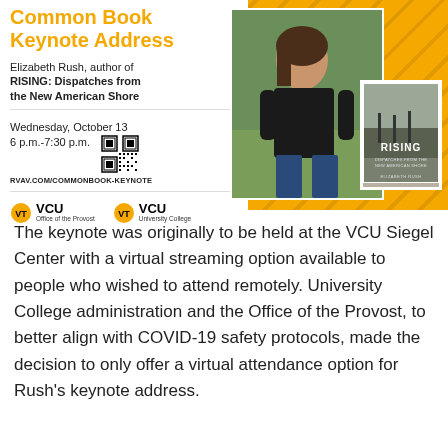Common Book Keynote Address
Elizabeth Rush, author of RISING: Dispatches from the New American Shore
Wednesday, October 13
6 p.m.-7:30 p.m.
RVAV.COM/COMMONBOOK-KEYNOTE
[Figure (photo): Photo of Elizabeth Rush standing outdoors in a field, wearing a black top, with the book cover of RISING visible in the lower right corner]
[Figure (logo): VCU Office of the Provost logo and VCU University College logo]
The keynote was originally to be held at the VCU Siegel Center with a virtual streaming option available to people who wished to attend remotely. University College administration and the Office of the Provost, to better align with COVID-19 safety protocols, made the decision to only offer a virtual attendance option for Rush's keynote address.